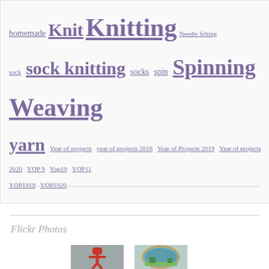homemade Knit Knitting Needle felting sock sock knitting socks spin Spinning Weaving yarn Year of projects year of projects 2018 Year of Projects 2019 Year of projects 2020 YOP 9 Yop10 YOP11 YOP1819 YOP1920
Flickr Photos
[Figure (photo): Two photos partially visible: left shows a red figure/ornament on grey background, right shows a circular embroidery hoop with blue-green landscape needlework]